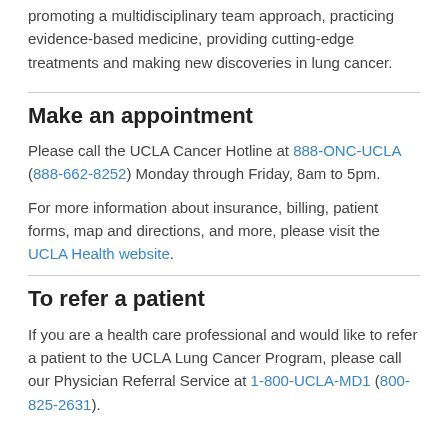promoting a multidisciplinary team approach, practicing evidence-based medicine, providing cutting-edge treatments and making new discoveries in lung cancer.
Make an appointment
Please call the UCLA Cancer Hotline at 888-ONC-UCLA (888-662-8252) Monday through Friday, 8am to 5pm.
For more information about insurance, billing, patient forms, map and directions, and more, please visit the UCLA Health website.
To refer a patient
If you are a health care professional and would like to refer a patient to the UCLA Lung Cancer Program, please call our Physician Referral Service at 1-800-UCLA-MD1 (800-825-2631).